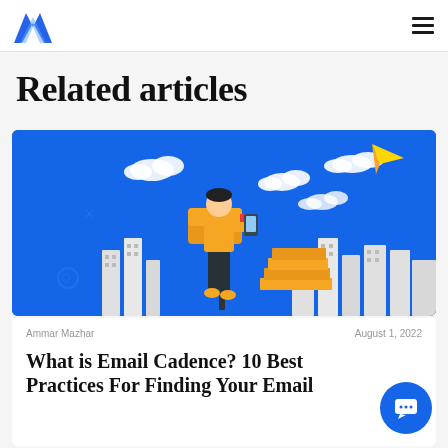[Figure (logo): Blue angular stylized M logo mark for Mailmodo or similar email marketing brand]
[Figure (illustration): Blue background illustration showing a person in yellow jacket checking phone near a mailbox, with city buildings, clouds, and a yellow paper plane flying overhead]
Related articles
Ammar Mazhar    August 1, 2022
What is Email Cadence? 10 Best Practices For Finding Your Email